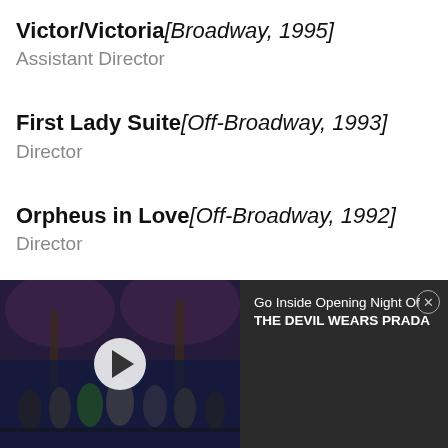Victor/Victoria [Broadway, 1995]
Assistant Director
First Lady Suite [Off-Broadway, 1993]
Director
Orpheus in Love [Off-Broadway, 1992]
Director
Four Short Operas [Off-Broadway, 1991]
[Figure (screenshot): Video thumbnail showing a Broadway stage curtain call with performers, with a white play button overlay. Adjacent panel shows dark background with text: 'Go Inside Opening Night Of THE DEVIL WEARS PRADA' with a close (X) button.]